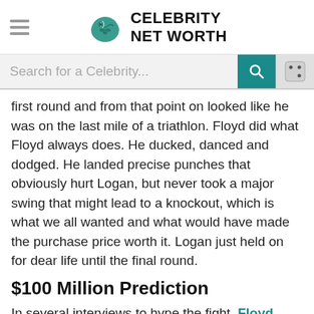Celebrity Net Worth
Search for a Celebrity...
first round and from that point on looked like he was on the last mile of a triathlon. Floyd did what Floyd always does. He ducked, danced and dodged. He landed precise punches that obviously hurt Logan, but never took a major swing that might lead to a knockout, which is what we all wanted and what would have made the purchase price worth it. Logan just held on for dear life until the final round.
$100 Million Prediction
In several interviews to hype the fight, Floyd Mayweather claimed he was easily going to make $100 million.
Had that happened it would have been his third-biggest